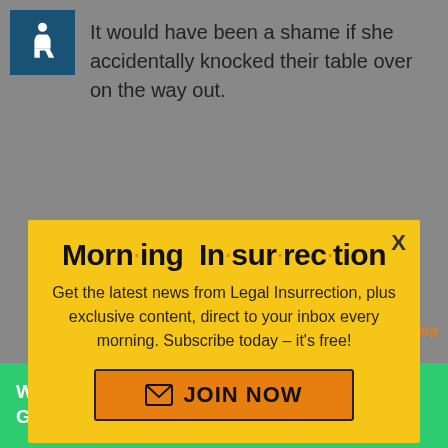[Figure (illustration): Accessibility wheelchair icon in dark teal square]
It would have been a shame if she accidentally knocked their table over on the way out.
[Figure (infographic): Yellow modal popup for Morning Insurrection newsletter with title, description, and JOIN NOW button]
Morn·ing In·sur·rec·tion
Get the latest news from Legal Insurrection, plus exclusive content, direct to your inbox every morning. Subscribe today – it's free!
[Figure (infographic): Green Fiverr advertisement banner: Working from home? Get your projects done on fiverr]